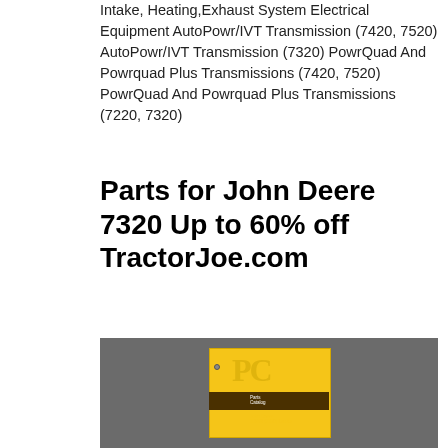Intake, Heating,Exhaust System Electrical Equipment AutoPowr/IVT Transmission (7420, 7520) AutoPowr/IVT Transmission (7320) PowrQuad And Powrquad Plus Transmissions (7420, 7520) PowrQuad And Powrquad Plus Transmissions (7220, 7320)
Parts for John Deere 7320 Up to 60% off TractorJoe.com
[Figure (photo): Photo of a yellow John Deere Parts Catalog book (JD300 7320 Loader) showing the PC logo on the cover with a dark brown stripe and text reading 'Parts Catalog' and 'John Deere JD300 (7320) Loader']